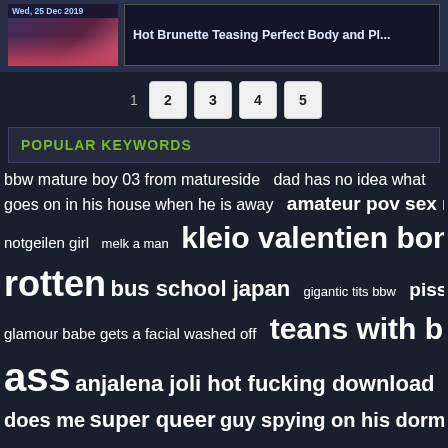[Figure (screenshot): Thumbnail image of brunette woman with date Wed, 25 Dec 2019]
Hot Brunette Teasing Perfect Body and Pl...
1  2  3  4  5 (pagination)
POPULAR KEYWORDS
bbw mature boy 03 from matureside  dad has no idea what goes on in his house when he is away  amateur pov sex mi × notgeilen girl  melk a man  kleio valentien bonnie rotten  bus school japan  gigantic tits bbw  pissing glamour babe gets a facial washed off  teans with big ass  anjalena joli hot fucking download  another fan does me  super queer  guy spying on his dormant gay porno  xxxvideo1444mycollegerule porn college wheel of fun  cara